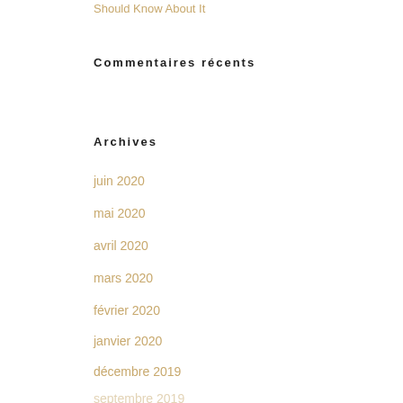Should Know About It
Commentaires récents
Archives
juin 2020
mai 2020
avril 2020
mars 2020
février 2020
janvier 2020
décembre 2019
novembre 2019
octobre 2019
septembre 2019